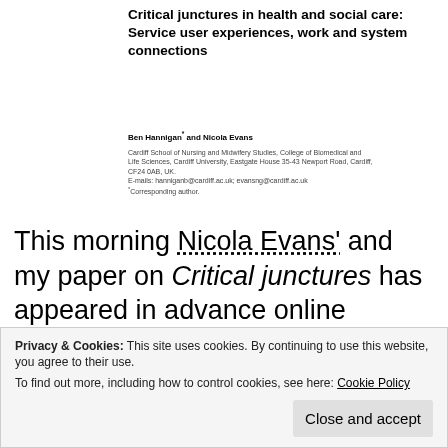Critical junctures in health and social care: Service user experiences, work and system connections
Ben Hannigan* and Nicola Evans
Cardiff School of Nursing and Midwifery Studies, College of Biomedical and Life Sciences, Cardiff University, Eastgate House 35-43 Newport Road, Cardiff, CF24 0AB, UK.
E-mails: hanniganb@cardiff.ac.uk; evansng@cardiff.ac.uk
*Corresponding author.
This morning Nicola Evans' and my paper on Critical junctures has appeared in advance online publication form on the Social Theory & Health website. This is very pleasing, though as I noted in my original post the terms of Palgrave's copyright agreement mean that we have to wait for a period of 18 months from now before
Privacy & Cookies: This site uses cookies. By continuing to use this website, you agree to their use.
To find out more, including how to control cookies, see here: Cookie Policy